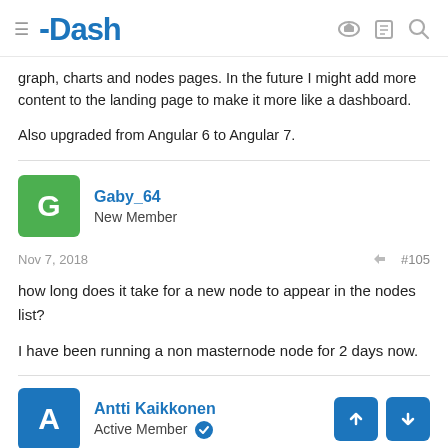Dash
graph, charts and nodes pages. In the future I might add more content to the landing page to make it more like a dashboard.
Also upgraded from Angular 6 to Angular 7.
Gaby_64 — New Member
Nov 7, 2018  #105
how long does it take for a new node to appear in the nodes list?
I have been running a non masternode node for 2 days now.
Antti Kaikkonen — Active Member